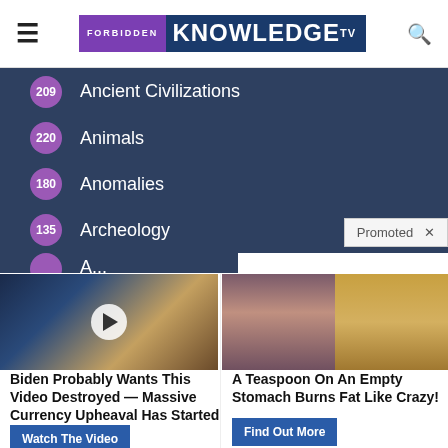Forbidden Knowledge TV
209 Ancient Civilizations
220 Animals
180 Anomalies
135 Archeology
Promoted
[Figure (screenshot): Ad image with video play button overlay showing a man in suit on TV set]
Biden Probably Wants This Video Destroyed — Massive Currency Upheaval Has Started
Watch The Video
[Figure (photo): Ad image showing a woman with flat stomach and a pile of yellow spice powder]
A Teaspoon On An Empty Stomach Burns Fat Like Crazy!
Find Out More